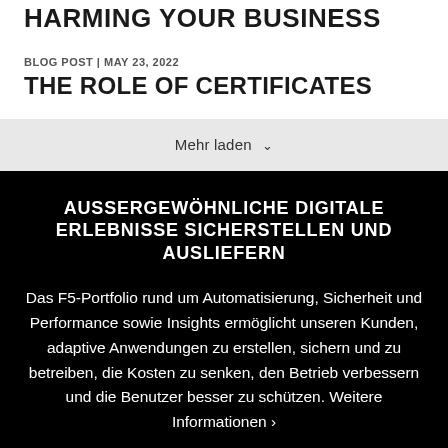HARMING YOUR BUSINESS
BLOG POST | MAY 23, 2022
THE ROLE OF CERTIFICATES
Mehr laden
AUßERGEWÖHNLICHE DIGITALE ERLEBNISSE SICHERSTELLEN UND AUSLIEFERN
Das F5-Portfolio rund um Automatisierung, Sicherheit und Performance sowie Insights ermöglicht unseren Kunden, adaptive Anwendungen zu erstellen, sichern und zu betreiben, die Kosten zu senken, den Betrieb verbessern und die Benutzer besser zu schützen. Weitere Informationen ›